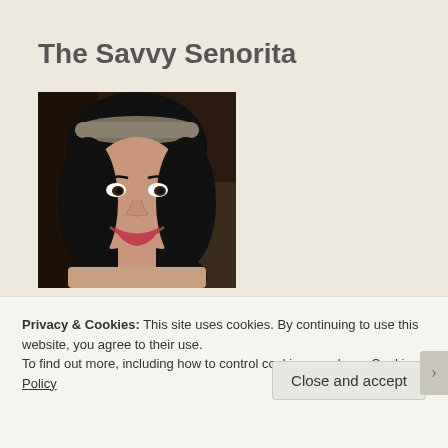The Savvy Senorita
[Figure (photo): Profile photo of a young woman with dark hair wearing a decorative headband, smiling]
My Blog Archives
July 2016
June 2016
Privacy & Cookies: This site uses cookies. By continuing to use this website, you agree to their use.
To find out more, including how to control cookies, see here: Cookie Policy
Close and accept